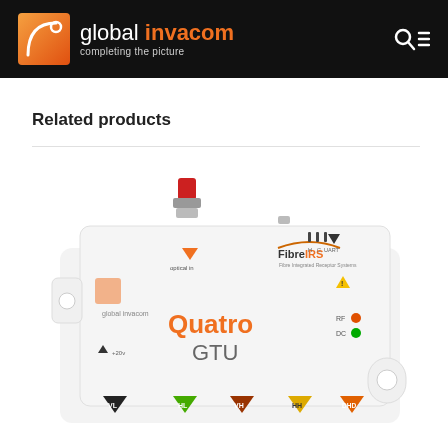global invacom – completing the picture
Related products
[Figure (photo): Global Invacom FibreIRS Quatro GTU device – a white rectangular electronics unit with orange/green/red LED indicators, labeled ports (optical in, VL, HL, VH, HH, UART), and colored arrow markers on a white background]